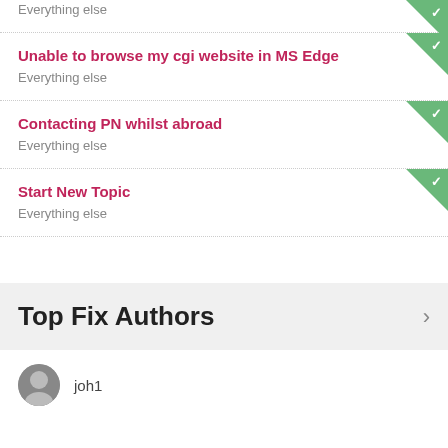Everything else
Unable to browse my cgi website in MS Edge
Everything else
Contacting PN whilst abroad
Everything else
Start New Topic
Everything else
Top Fix Authors
joh1